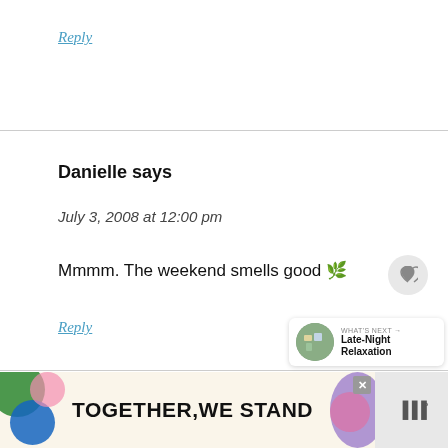Reply
Danielle says
July 3, 2008 at 12:00 pm
Mmmm. The weekend smells good 🌿
Reply
[Figure (infographic): WHAT'S NEXT banner with thumbnail and title 'Late-Night Relaxation']
[Figure (infographic): Advertisement banner: TOGETHER,WE STAND with colorful graphic elements and close button]